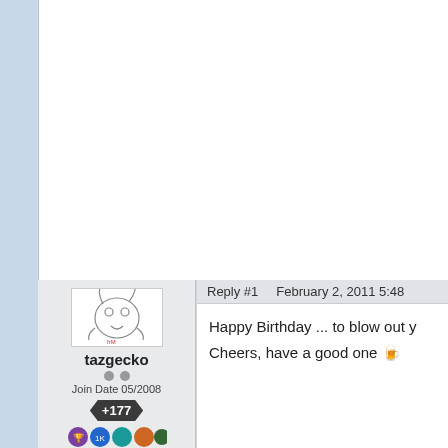Reply #1    February 2, 2011 5:48
[Figure (illustration): Forum user avatar: cartoon drawing of a small animal/gecko character on white background]
tazgecko
Join Date 05/2008
+177
Happy Birthday ... to blow out y
Cheers, have a good one 🍺